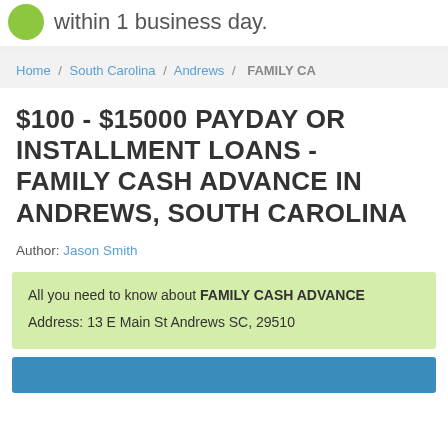within 1 business day.
Home / South Carolina / Andrews / FAMILY CA
$100 - $15000 PAYDAY OR INSTALLMENT LOANS - FAMILY CASH ADVANCE IN ANDREWS, SOUTH CAROLINA
Author: Jason Smith
All you need to know about FAMILY CASH ADVANCE
Address: 13 E Main St Andrews SC, 29510